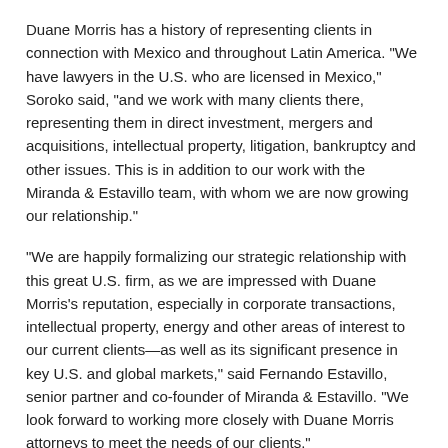Duane Morris has a history of representing clients in connection with Mexico and throughout Latin America. "We have lawyers in the U.S. who are licensed in Mexico," Soroko said, "and we work with many clients there, representing them in direct investment, mergers and acquisitions, intellectual property, litigation, bankruptcy and other issues. This is in addition to our work with the Miranda & Estavillo team, with whom we are now growing our relationship."
"We are happily formalizing our strategic relationship with this great U.S. firm, as we are impressed with Duane Morris's reputation, especially in corporate transactions, intellectual property, energy and other areas of interest to our current clients—as well as its significant presence in key U.S. and global markets," said Fernando Estavillo, senior partner and co-founder of Miranda & Estavillo. "We look forward to working more closely with Duane Morris attorneys to meet the needs of our clients."
Under the current agreement, Duane Morris and Miranda & Estavillo are remaining separate firms, and will not maintain a joint law practice.
About Miranda & Estavillo